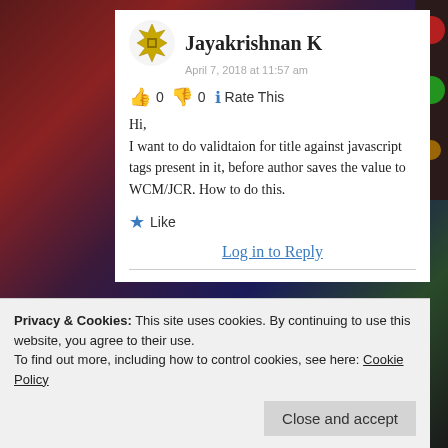Jayakrishnan K
April 7, 2018 at 11:57 am
👍 0 👎 0 ℹ️ Rate This
Hi,
I want to do validtaion for title against javascript tags present in it, before author saves the value to WCM/JCR. How to do this.
★ Like
Log in to Reply
Privacy & Cookies: This site uses cookies. By continuing to use this website, you agree to their use.
To find out more, including how to control cookies, see here: Cookie Policy
Close and accept